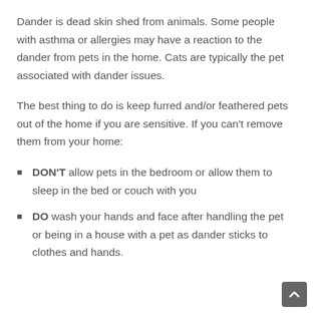Dander is dead skin shed from animals. Some people with asthma or allergies may have a reaction to the dander from pets in the home. Cats are typically the pet associated with dander issues.
The best thing to do is keep furred and/or feathered pets out of the home if you are sensitive. If you can't remove them from your home:
DON'T allow pets in the bedroom or allow them to sleep in the bed or couch with you
DO wash your hands and face after handling the pet or being in a house with a pet as dander sticks to clothes and hands.